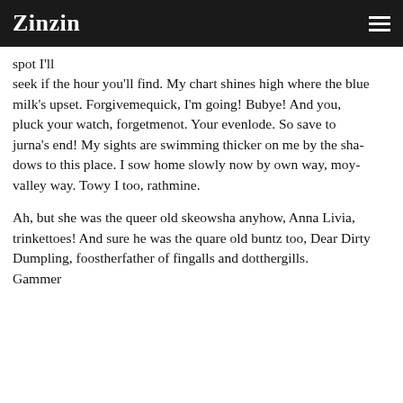Zinzin
spot I'll
seek if the hour you'll find. My chart shines high where the blue
milk's upset. Forgivemequick, I'm going! Bubye! And you,
pluck your watch, forgetmenot. Your evenlode. So save to
jurna's end! My sights are swimming thicker on me by the sha-
dows to this place. I sow home slowly now by own way, moy-
valley way. Towy I too, rathmine.

Ah, but she was the queer old skeowsha anyhow, Anna Livia,
trinkettoes! And sure he was the quare old buntz too, Dear Dirty
Dumpling, foostherfather of fingalls and dotthergills.
Gammer